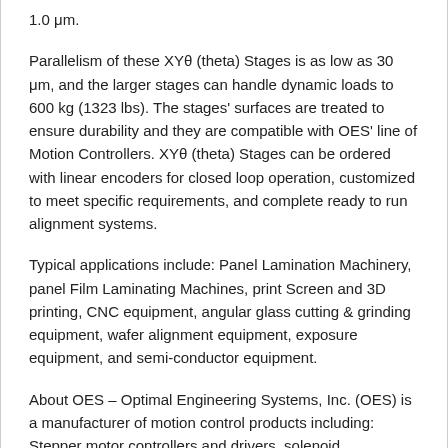1.0 μm.
Parallelism of these XYθ (theta) Stages is as low as 30 μm, and the larger stages can handle dynamic loads to 600 kg (1323 lbs). The stages' surfaces are treated to ensure durability and they are compatible with OES' line of Motion Controllers. XYθ (theta) Stages can be ordered with linear encoders for closed loop operation, customized to meet specific requirements, and complete ready to run alignment systems.
Typical applications include: Panel Lamination Machinery, panel Film Laminating Machines, print Screen and 3D printing, CNC equipment, angular glass cutting & grinding equipment, wafer alignment equipment, exposure equipment, and semi-conductor equipment.
About OES – Optimal Engineering Systems, Inc. (OES) is a manufacturer of motion control products including: Stepper motor controllers and drivers, solenoid electronics, and positioning stages and slides. Applications include: Animation, automated assembly systems, automation, CNC machines, flight simulation, inspection systems, linear and rotary stages, machine tools, medical devices, motion control camera boom systems, optical comparators, CMMs,